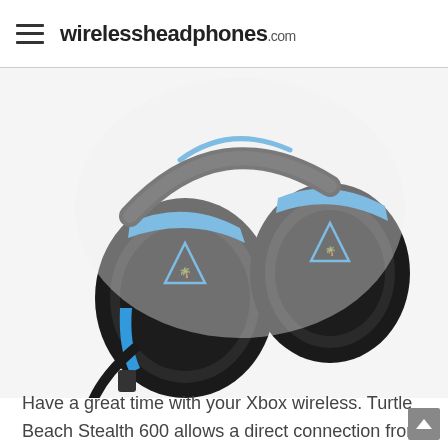wirelessheadphones.com
[Figure (photo): Black and blue Turtle Beach Stealth 600 wireless gaming headset shown from the front-side angle on a white background]
Have a great time with your Xbox wireless. Turtle Beach Stealth 600 allows a direct connection from your Console to your headset. You're excused from the wires and base station. There's no adapter needed. You can just turn on your headset and start with your favorite game. There's also new firmware available.